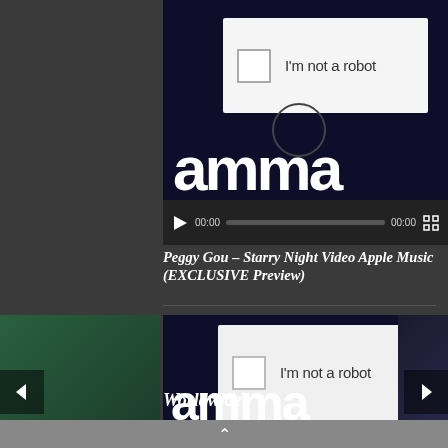[Figure (screenshot): Video player with CAPTCHA 'I'm not a robot' overlay, dark navy background with large white text, showing 00:00 timecode controls]
Peggy Gou – Starry Night Video Apple Music (EXCLUSIVE Preview)
[Figure (screenshot): Second video player with CAPTCHA 'I'm not a robot' overlay, same dark navy background, showing 00:00 timecode controls]
Worldwide